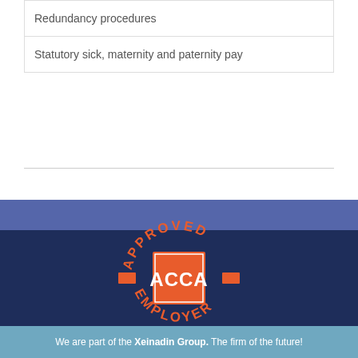| Redundancy procedures |
| Statutory sick, maternity and paternity pay |
[Figure (logo): ACCA Approved Employer circular badge with orange text on dark navy background, orange square ACCA logo in center]
We are part of the Xeinadin Group. The firm of the future!